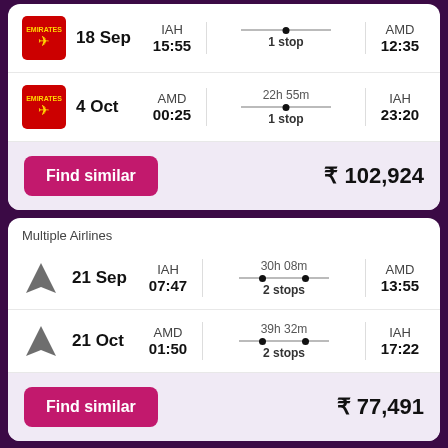| Emirates | 18 Sep | IAH 15:55 | 1 stop | AMD 12:35 |
| Emirates | 4 Oct | AMD 00:25 | 22h 55m 1 stop | IAH 23:20 |
Find similar  ₹ 102,924
Multiple Airlines
| Multiple Airlines | 21 Sep | IAH 07:47 | 30h 08m 2 stops | AMD 13:55 |
| Multiple Airlines | 21 Oct | AMD 01:50 | 39h 32m 2 stops | IAH 17:22 |
Find similar  ₹ 77,491
Qatar Airways